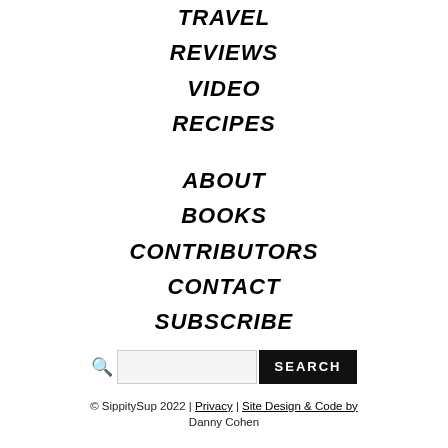TRAVEL
REVIEWS
VIDEO
RECIPES
ABOUT
BOOKS
CONTRIBUTORS
CONTACT
SUBSCRIBE
Search
© SippitySup 2022 | Privacy | Site Design & Code by Danny Cohen